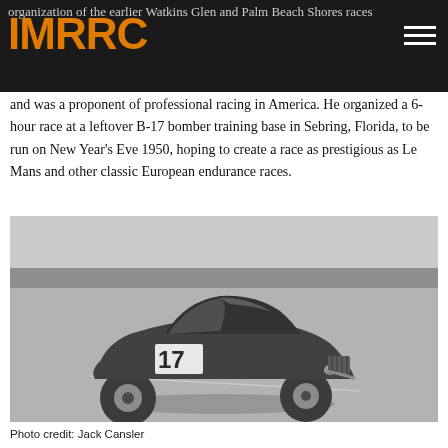IMRRC
organization of the earlier Watkins Glen and Palm Beach Shores races and was a proponent of professional racing in America. He organized a 6-hour race at a leftover B-17 bomber training base in Sebring, Florida, to be run on New Year's Eve 1950, hoping to create a race as prestigious as Le Mans and other classic European endurance races.
[Figure (photo): Black and white photograph of a vintage racing car numbered 17 driving on a flat airfield circuit at Sebring. The car is a 1950s-era closed-top sports car (Ferrari-style coupe). Photo credit: Jack Cansler.]
Photo credit: Jack Cansler